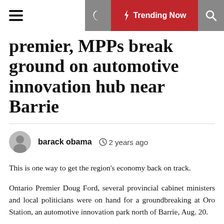☰  ☽  ⚡ Trending Now  🔍
premier, MPPs break ground on automotive innovation hub near Barrie
barack obama  🕐 2 years ago
This is one way to get the region's economy back on track.
Ontario Premier Doug Ford, several provincial cabinet ministers and local politicians were on hand for a groundbreaking at Oro Station, an automotive innovation park north of Barrie, Aug. 20.
The facility is adjacent to Lake Simcoe Regional Airport in Oro-Medonte and, once complete, will feature 500,000 square feet of dedicated industrial and commercial space,